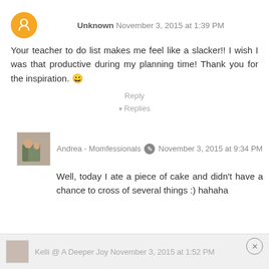Unknown November 3, 2015 at 1:39 PM
Your teacher to do list makes me feel like a slacker!! I wish I was that productive during my planning time! Thank you for the inspiration. 😊
Reply
Replies
Andrea - Momfessionals November 3, 2015 at 9:34 PM
Well, today I ate a piece of cake and didn't have a chance to cross of several things :) hahaha
Reply
Kelli @ A Deeper Joy November 3, 2015 at 1:52 PM